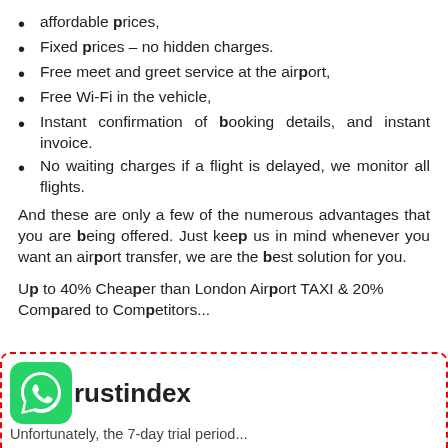affordable prices,
Fixed prices – no hidden charges.
Free meet and greet service at the airport,
Free Wi-Fi in the vehicle,
Instant confirmation of booking details, and instant invoice.
No waiting charges if a flight is delayed, we monitor all flights.
And these are only a few of the numerous advantages that you are being offered. Just keep us in mind whenever you want an airport transfer, we are the best solution for you.
Up to 40% Cheaper than London Airport TAXI & 20% Compared to Competitors...
[Figure (other): WhatsApp icon (green rounded square with white phone silhouette) next to Trustindex branding text, inside a red dashed border box. Below is partial text: Unfortunately, the 7-day trial period...]